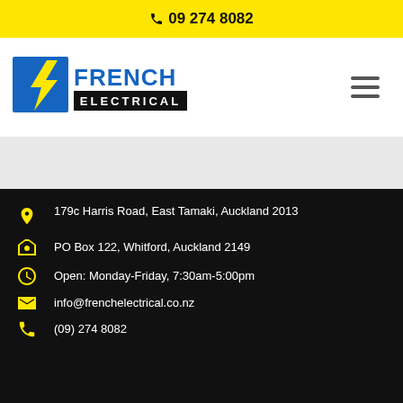📞 09 274 8082
[Figure (logo): French Electrical logo with blue lightning bolt and black/blue text]
179c Harris Road, East Tamaki, Auckland 2013
PO Box 122, Whitford, Auckland 2149
Open: Monday-Friday, 7:30am-5:00pm
info@frenchelectrical.co.nz
(09) 274 8082